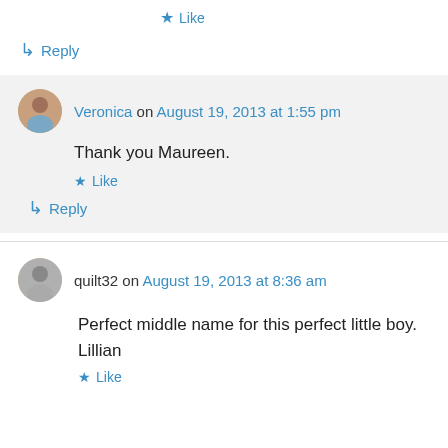★ Like
↳ Reply
Veronica on August 19, 2013 at 1:55 pm
Thank you Maureen.
★ Like
↳ Reply
quilt32 on August 19, 2013 at 8:36 am
Perfect middle name for this perfect little boy. Lillian
★ Like